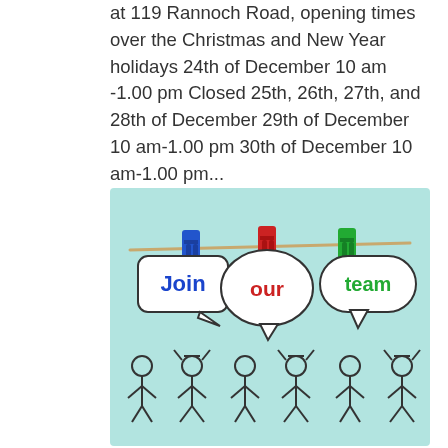at 119 Rannoch Road, opening times over the Christmas and New Year holidays 24th of December 10 am -1.00 pm Closed 25th, 26th, 27th, and 28th of December 29th of December 10 am-1.00 pm 30th of December 10 am-1.00 pm...
[Figure (photo): A photo showing three colourful clothespins (blue, red, green) clipped to a string/rope, each holding a speech bubble cutout. The bubbles read 'Join' (blue text), 'our' (red text), and 'team' (green text). Below the speech bubbles are six paper cutout stick figures of people on a light blue background.]